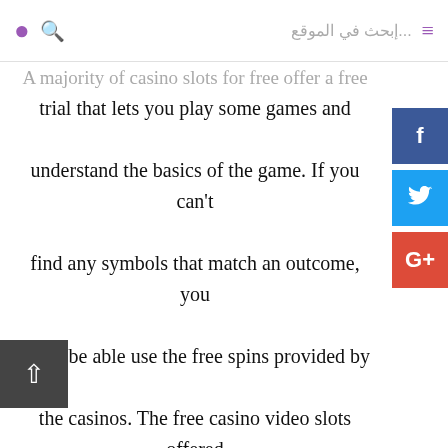إبحث في الموقع...
A majority of casino slots for free offer a free trial that lets you play some games and understand the basics of the game. If you can't find any symbols that match an outcome, you won't be able use the free spins provided by the casinos. The free casino video slots offered online also include icons that have the black dot at their center. These symbols will signify spins and bonus rounds that will give you cash prizes when you win. Therefore, it is crucial to know these symbols and the ones that represent various spins to allow you to win